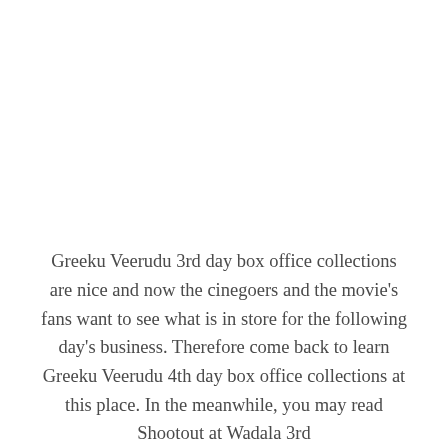Greeku Veerudu 3rd day box office collections are nice and now the cinegoers and the movie's fans want to see what is in store for the following day's business. Therefore come back to learn Greeku Veerudu 4th day box office collections at this place. In the meanwhile, you may read Shootout at Wadala 3rd